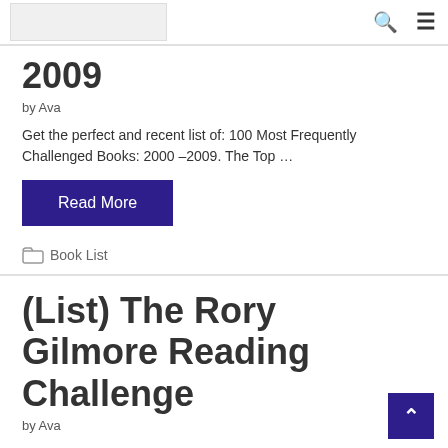[Logo] [Search] [Menu]
2009
by Ava
Get the perfect and recent list of: 100 Most Frequently Challenged Books: 2000 –2009. The Top …
Read More
Book List
(List) The Rory Gilmore Reading Challenge
by Ava